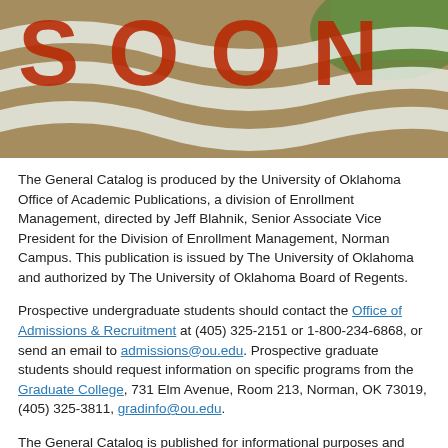[Figure (photo): Aerial view of red and white flowers arranged to spell 'SOONERS' or similar University of Oklahoma lettering on a landscape bed]
The General Catalog is produced by the University of Oklahoma Office of Academic Publications, a division of Enrollment Management, directed by Jeff Blahnik, Senior Associate Vice President for the Division of Enrollment Management, Norman Campus. This publication is issued by The University of Oklahoma and authorized by The University of Oklahoma Board of Regents.
Prospective undergraduate students should contact the Office of Admissions & Recruitment at (405) 325-2151 or 1-800-234-6868, or send an email to admissions@ou.edu. Prospective graduate students should request information on specific programs from the Graduate College, 731 Elm Avenue, Room 213, Norman, OK 73019, (405) 325-3811, gradinfo@ou.edu.
The General Catalog is published for informational purposes and should not be construed as the basis of a contract between a student and the University of Oklahoma. Every effort is made to provide information that is accurate at the